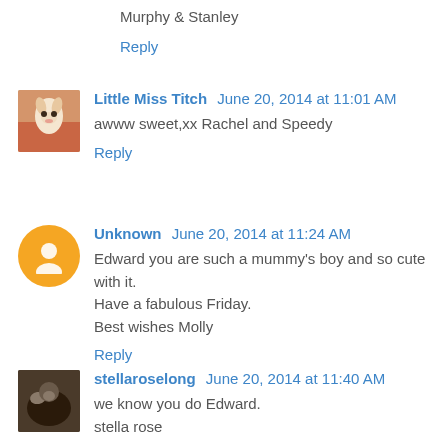Murphy & Stanley
Reply
Little Miss Titch  June 20, 2014 at 11:01 AM
awww sweet,xx Rachel and Speedy
Reply
Unknown  June 20, 2014 at 11:24 AM
Edward you are such a mummy's boy and so cute with it. Have a fabulous Friday. Best wishes Molly
Reply
stellaroselong  June 20, 2014 at 11:40 AM
we know you do Edward. stella rose